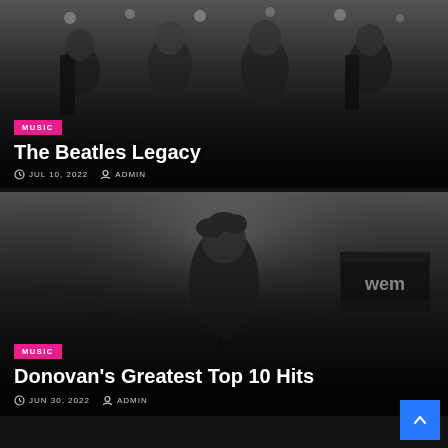[Figure (photo): Black and white photo of The Beatles performing on stage with guitars, multiple band members visible]
MUSIC
The Beatles Legacy
JUL 10, 2022  ADMIN
[Figure (photo): Black and white photo of Donovan singing into a microphone on stage, with WEM amplifier visible in background]
MUSIC
Donovan's Greatest Top 10 Hits
JUN 30, 2022  ADMIN